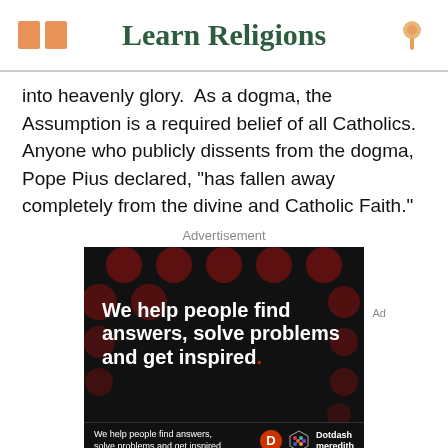Learn Religions
into heavenly glory.  As a dogma, the Assumption is a required belief of all Catholics. Anyone who publicly dissents from the dogma, Pope Pius declared, "has fallen away completely from the divine and Catholic Faith."
Advertisement
[Figure (photo): Advertisement banner with black background and dark red polka dots pattern. Bold white text reads 'We help people find answers, solve problems and get inspired.' with red period. Footer shows 'We help people find answers, solve problems and get inspired.' with Dotdash Meredith logo.]